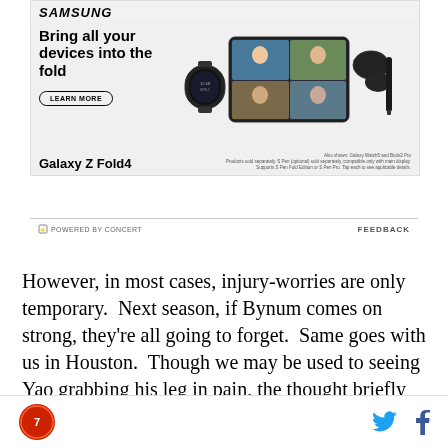[Figure (advertisement): Samsung Galaxy Z Fold4 advertisement showing headline 'Bring all your devices into the fold' with a LEARN MORE button, product image of Galaxy Z Fold4 foldable phone open with video call, Galaxy Watch, and earbuds. Bottom shows 'Galaxy Z Fold4' branding and disclaimer text.]
⚡ POWERED BY CONCERT    FEEDBACK
However, in most cases, injury-worries are only temporary.  Next season, if Bynum comes on strong, they're all going to forget.  Same goes with us in Houston.  Though we may be used to seeing Yao grabbing his leg in pain, the thought briefly escapes